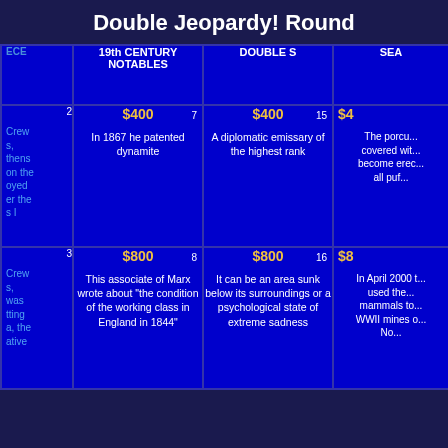Double Jeopardy! Round
| (col0) | 19th CENTURY NOTABLES | DOUBLE S | SEA... |
| --- | --- | --- | --- |
| 2 | $400 (7) | $400 (15) | $4... |
| (clue text) | In 1867 he patented dynamite | A diplomatic emissary of the highest rank | The porcu... covered wit... become erec... all puf... |
| 3 | $800 (8) | $800 (16) | $8... |
| (clue text) | This associate of Marx wrote about "the condition of the working class in England in 1844" | It can be an area sunk below its surroundings or a psychological state of extreme sadness | In April 2000 t... used the... mammals to... WWII mines o... No... |